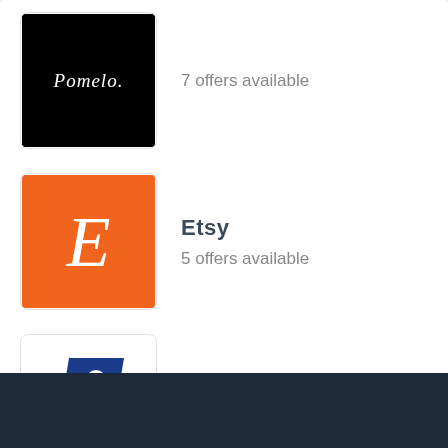[Figure (logo): Pomelo brand logo - black background with white italic text saying Pomelo]
7 offers available
[Figure (logo): Etsy logo - orange background with white italic E]
Etsy
5 offers available
[Figure (logo): Reichelt elektronik logo - blue and teal stylized r mark]
reichelt elektronik
4 offers available
[Figure (logo): UNDONE logo - black background with white bold UNDONE text]
UNDONE
7 offers available